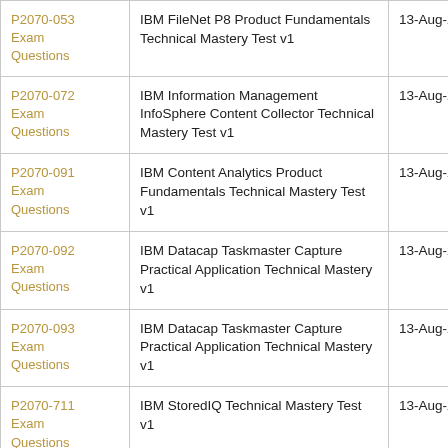| P2070-053 Exam Questions | IBM FileNet P8 Product Fundamentals Technical Mastery Test v1 | 13-Aug-2022 |
| P2070-072 Exam Questions | IBM Information Management InfoSphere Content Collector Technical Mastery Test v1 | 13-Aug-2022 |
| P2070-091 Exam Questions | IBM Content Analytics Product Fundamentals Technical Mastery Test v1 | 13-Aug-2022 |
| P2070-092 Exam Questions | IBM Datacap Taskmaster Capture Practical Application Technical Mastery v1 | 13-Aug-2022 |
| P2070-093 Exam Questions | IBM Datacap Taskmaster Capture Practical Application Technical Mastery v1 | 13-Aug-2022 |
| P2070-711 Exam Questions | IBM StoredIQ Technical Mastery Test v1 | 13-Aug-2022 |